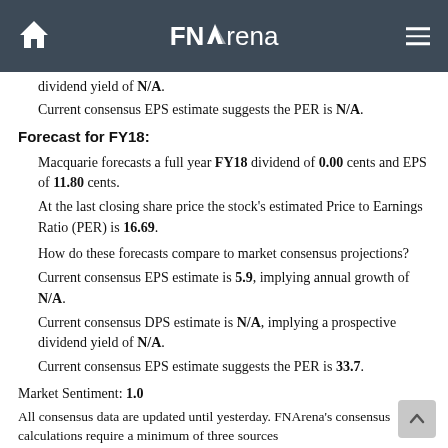FNArena
dividend yield of N/A.
Current consensus EPS estimate suggests the PER is N/A.
Forecast for FY18:
Macquarie forecasts a full year FY18 dividend of 0.00 cents and EPS of 11.80 cents.
At the last closing share price the stock's estimated Price to Earnings Ratio (PER) is 16.69.
How do these forecasts compare to market consensus projections?
Current consensus EPS estimate is 5.9, implying annual growth of N/A.
Current consensus DPS estimate is N/A, implying a prospective dividend yield of N/A.
Current consensus EPS estimate suggests the PER is 33.7.
Market Sentiment: 1.0
All consensus data are updated until yesterday. FNArena's consensus calculations require a minimum of three sources